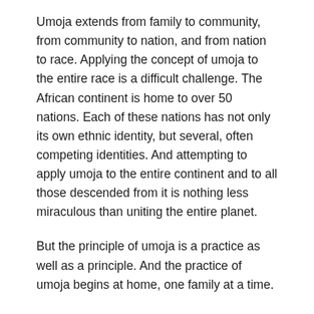Umoja extends from family to community, from community to nation, and from nation to race. Applying the concept of umoja to the entire race is a difficult challenge. The African continent is home to over 50 nations. Each of these nations has not only its own ethnic identity, but several, often competing identities. And attempting to apply umoja to the entire continent and to all those descended from it is nothing less miraculous than uniting the entire planet.
But the principle of umoja is a practice as well as a principle. And the practice of umoja begins at home, one family at a time.
Tomorrow we celebrate the principle and the practice of Kujichagulia: Self-Determination...
Up you mighty race: accomplish what you will.